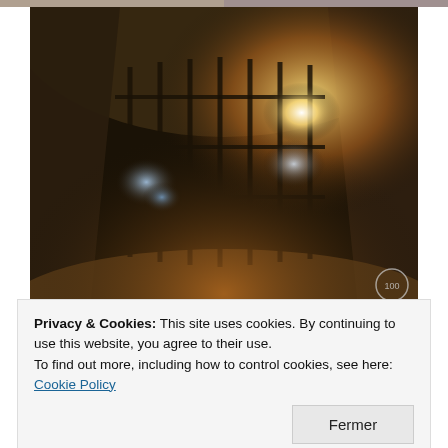[Figure (photo): Partial tops of two images visible at the very top of the page, cropped.]
[Figure (photo): A dark cave or tunnel interior with metal gate/bars, illuminated by amber and blue-white lights, rocky walls and ceiling, sandy ground. A small round watermark is visible at bottom right.]
Privacy & Cookies: This site uses cookies. By continuing to use this website, you agree to their use.
To find out more, including how to control cookies, see here: Cookie Policy
Fermer
Kagekiyo, after he was defeated at Dan-no-Ora battle